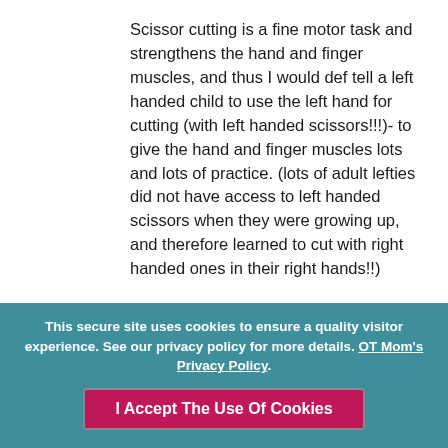Scissor cutting is a fine motor task and strengthens the hand and finger muscles, and thus I would def tell a left handed child to use the left hand for cutting (with left handed scissors!!!)- to give the hand and finger muscles lots and lots of practice. (lots of adult lefties did not have access to left handed scissors when they were growing up, and therefore learned to cut with right handed ones in their right hands!!)
If a child is "strong" with their preferred hand, then it is not really such an issue to
This secure site uses cookies to ensure a quality visitor experience. See our privacy policy for more details. OT Mom's Privacy Policy. I Accept The Use Of Cookies